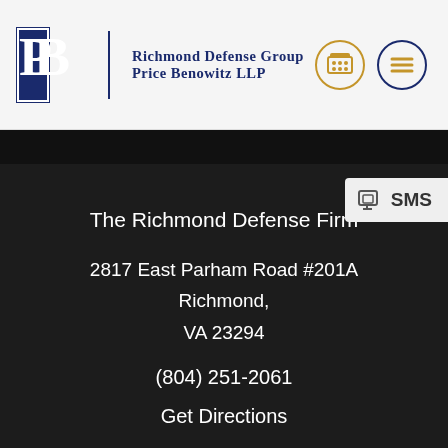[Figure (logo): Richmond Defense Group Price Benowitz LLP logo with PB monogram and phone/menu icons]
The Richmond Defense Firm
2817 East Parham Road #201A
Richmond,
VA 23294
(804) 251-2061
Get Directions
The Richmond Defense Firm